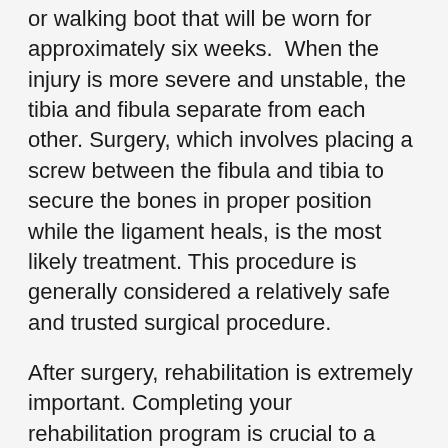These injuries can be treated in a cast or walking boot that will be worn for approximately six weeks.  When the injury is more severe and unstable, the tibia and fibula separate from each other. Surgery, which involves placing a screw between the fibula and tibia to secure the bones in proper position while the ligament heals, is the most likely treatment. This procedure is generally considered a relatively safe and trusted surgical procedure.
After surgery, rehabilitation is extremely important. Completing your rehabilitation program is crucial to a successful outcome.
Fracture
Surgery is often required for many types of ankle fractures. The determination for surgery will largely depend on the appearance of the ankle